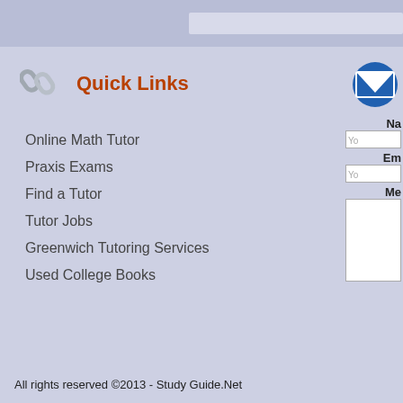Quick Links
Online Math Tutor
Praxis Exams
Find a Tutor
Tutor Jobs
Greenwich Tutoring Services
Used College Books
All rights reserved ©2013 - Study Guide.Net